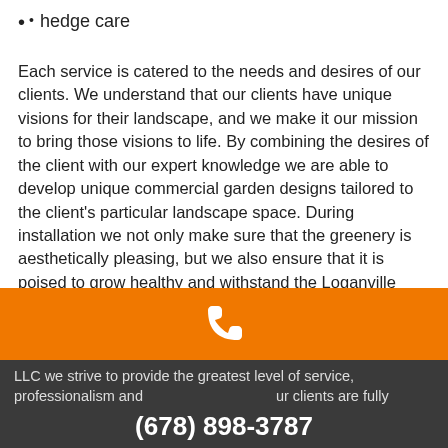• hedge care
Each service is catered to the needs and desires of our clients. We understand that our clients have unique visions for their landscape, and we make it our mission to bring those visions to life. By combining the desires of the client with our expert knowledge we are able to develop unique commercial garden designs tailored to the client's particular landscape space. During installation we not only make sure that the greenery is aesthetically pleasing, but we also ensure that it is poised to grow healthy and withstand the Loganville elements.
Contact Us Today
There are many different options for your commercial garden
[Figure (other): Orange bar with white phone icon]
LLC we strive to provide the greatest level of service, professionalism and (678) 898-3787 our clients are fully